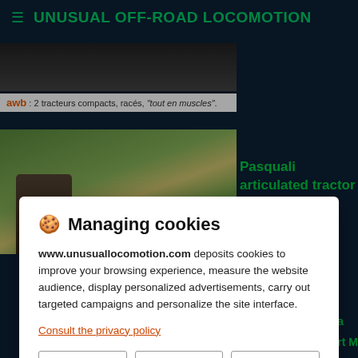≡ UNUSUAL OFF-ROAD LOCOMOTION
[Figure (photo): AWB banner showing compact tractors with text 'awb : 2 tracteurs compacts, racés, "tout en muscles".']
[Figure (photo): Pasquali articulated tractor in a field scene with a person]
Pasquali articulated tractor 4 collection.
of
wa
1984 by Robert Mandry which
🍪 Managing cookies

www.unusuallocomotion.com deposits cookies to improve your browsing experience, measure the website audience, display personalized advertisements, carry out targeted campaigns and personalize the site interface.

Consult the privacy policy

Refuse  Settings  Accept